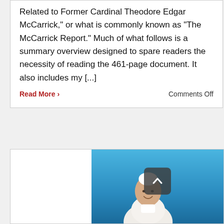Related to Former Cardinal Theodore Edgar McCarrick," or what is commonly known as "The McCarrick Report." Much of what follows is a summary overview designed to spare readers the necessity of reading the 461-page document. It also includes my [...]
Read More
Comments Off
[Figure (photo): Photo of a pope or religious figure in white vestments smiling, against a blue sky background, with a scroll-to-top button overlay]